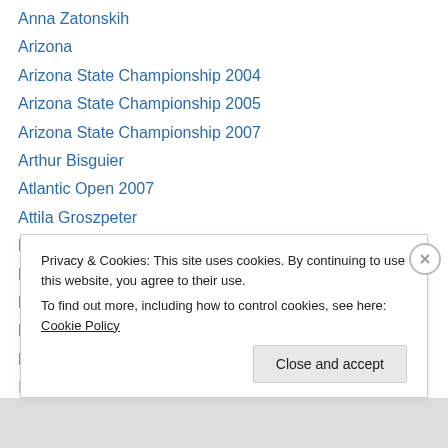Anna Zatonskih
Arizona
Arizona State Championship 2004
Arizona State Championship 2005
Arizona State Championship 2007
Arthur Bisguier
Atlantic Open 2007
Attila Groszpeter
Backgammon
Bar Point August International 1980
Bar Point Chess Club
Bar Point International 1980
Barry Popik
Privacy & Cookies: This site uses cookies. By continuing to use this website, you agree to their use. To find out more, including how to control cookies, see here: Cookie Policy
Close and accept